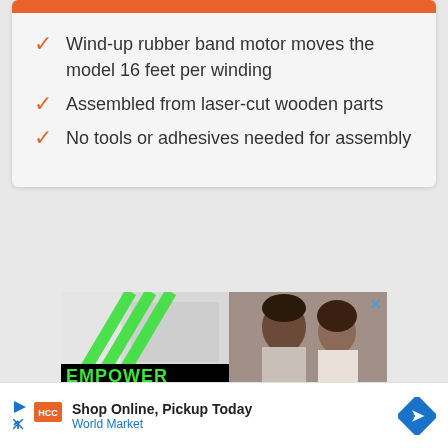Wind-up rubber band motor moves the model 16 feet per winding
Assembled from laser-cut wooden parts
No tools or adhesives needed for assembly
[Figure (photo): Advertisement banner: left side shows green diagonal lines on grey background with 'EMPOWER A KID IN YOUR COMMUNITY TODAY' text; right side shows a man and child looking at something together]
[Figure (infographic): Bottom banner ad: 'Shop Online, Pickup Today' with 'World Market' text, play button, close button, and blue diamond logo]